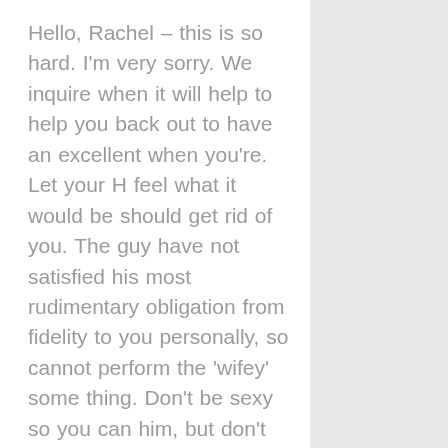Hello, Rachel – this is so hard. I'm very sorry. We inquire when it will help to help you back out to have an excellent when you're. Let your H feel what it would be should get rid of you. The guy have not satisfied his most rudimentary obligation from fidelity to you personally, so cannot perform the 'wifey' some thing. Don't be sexy so you can him, but don't do his